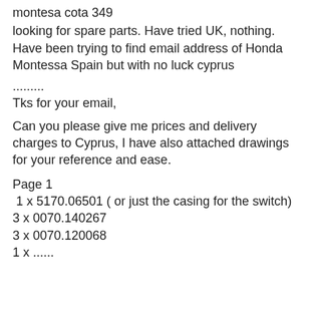montesa cota 349
looking for spare parts. Have tried UK, nothing. Have been trying to find email address of Honda Montessa Spain but with no luck cyprus
..........
Tks for your email,
Can you please give me prices and delivery charges to Cyprus, I have also attached drawings for your reference and ease.
Page 1
 1 x 5170.06501 ( or just the casing for the switch)
3 x 0070.140267
3 x 0070.120068
1 x ...